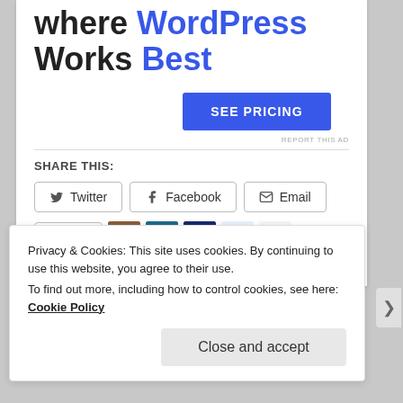where WordPress Works Best
[Figure (screenshot): SEE PRICING button - blue rectangular button]
REPORT THIS AD
SHARE THIS:
[Figure (screenshot): Share buttons: Twitter, Facebook, Email]
[Figure (screenshot): Like button with star icon and 5 blogger avatars]
5 bloggers like this.
Privacy & Cookies: This site uses cookies. By continuing to use this website, you agree to their use.
To find out more, including how to control cookies, see here: Cookie Policy
[Figure (screenshot): Close and accept button]